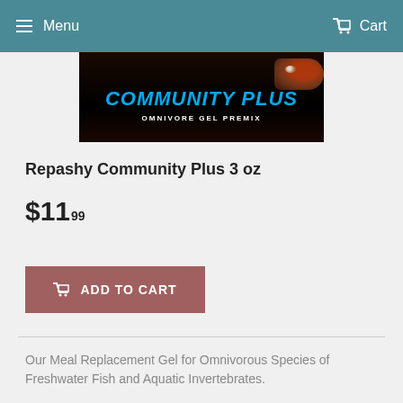Menu  Cart
[Figure (photo): Product image for Repashy Community Plus Omnivore Gel Premix showing a fish on dark background with blue 'COMMUNITY PLUS' text and white 'OMNIVORE GEL PREMIX' subtitle]
Repashy Community Plus 3 oz
$11.99
ADD TO CART
Our Meal Replacement Gel for Omnivorous Species of Freshwater Fish and Aquatic Invertebrates.